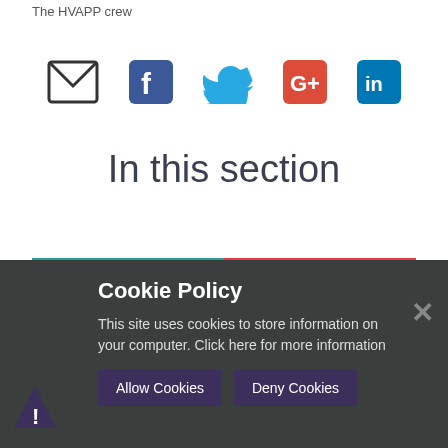The HVAPP crew
[Figure (infographic): Row of 5 social media icons: email (envelope), Facebook, Twitter, Google+, LinkedIn]
In this section
Cookie Policy
This site uses cookies to store information on your computer. Click here for more information
Allow Cookies   Deny Cookies